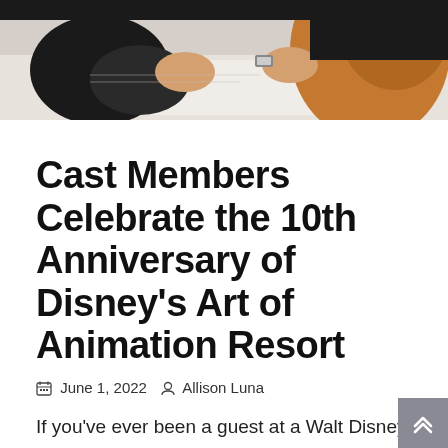[Figure (photo): Top portion of a photo showing a person's hands and arms, appearing to be signing or drawing something on a surface. The person is wearing a watch and a brown/orange jacket.]
Cast Members Celebrate the 10th Anniversary of Disney's Art of Animation Resort
June 1, 2022  Allison Luna
If you've ever been a guest at a Walt Disney World Resort hotel, you'll know how exciting it can be to stay on property. The
Keep Reading...